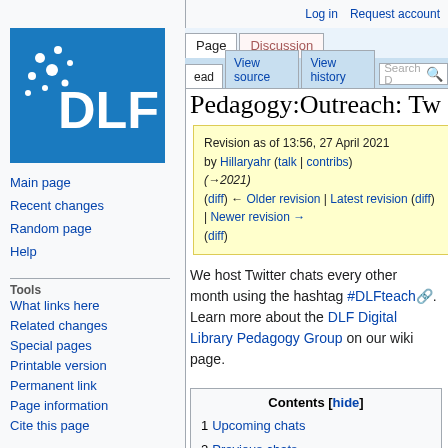Log in   Request account
[Figure (logo): DLF (Digital Library Federation) logo — white text and dots on blue background]
Main page
Recent changes
Random page
Help
Tools
What links here
Related changes
Special pages
Printable version
Permanent link
Page information
Cite this page
Pedagogy:Outreach:Tw
Revision as of 13:56, 27 April 2021 by Hillaryahr (talk | contribs) (→2021) (diff) ← Older revision | Latest revision (diff) | Newer revision → (diff)
We host Twitter chats every other month using the hashtag #DLFteach. Learn more about the DLF Digital Library Pedagogy Group on our wiki page.
Contents [hide]
1 Upcoming chats
2 Previous chats